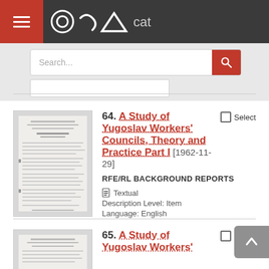catalog
Search...
64. A Study of Yugoslav Workers' Councils, Theory and Practice Part I [1962-11-29] RFE/RL BACKGROUND REPORTS Textual Description Level: Item Language: English Available Online
[Figure (photo): Thumbnail of scanned document page - A Study of Yugoslav Workers' Councils Part I]
65. A Study of Yugoslav Workers'